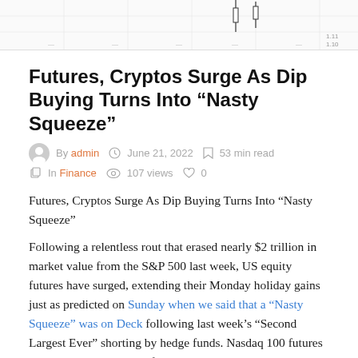[Figure (continuous-plot): Top portion of a financial chart (candlestick or line chart), cropped, showing price data with gridlines. Only the top portion is visible.]
Futures, Cryptos Surge As Dip Buying Turns Into “Nasty Squeeze”
By admin  June 21, 2022  53 min read  In Finance  107 views  0
Futures, Cryptos Surge As Dip Buying Turns Into “Nasty Squeeze”
Following a relentless rout that erased nearly $2 trillion in market value from the S&P 500 last week, US equity futures have surged, extending their Monday holiday gains just as predicted on Sunday when we said that a “Nasty Squeeze” was on Deck following last week’s “Second Largest Ever” shorting by hedge funds. Nasdaq 100 futures rose as much as 2.2% before trading 1.7%